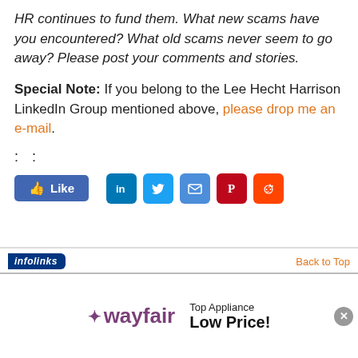HR continues to fund them. What new scams have you encountered? What old scams never seem to go away? Please post your comments and stories.
Special Note: If you belong to the Lee Hecht Harrison LinkedIn Group mentioned above, please drop me an e-mail.
: :
[Figure (other): Facebook Like button and social sharing icons for LinkedIn, Twitter, Email, Pinterest, Reddit]
[Figure (other): Infolinks bar with Back to Top link]
[Figure (other): Wayfair advertisement banner: Top Appliance Low Price!]